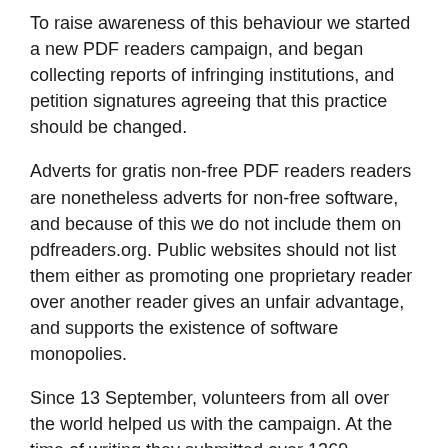To raise awareness of this behaviour we started a new PDF readers campaign, and began collecting reports of infringing institutions, and petition signatures agreeing that this practice should be changed.
Adverts for gratis non-free PDF readers readers are nonetheless adverts for non-free software, and because of this we do not include them on pdfreaders.org. Public websites should not list them either as promoting one proprietary reader over another reader gives an unfair advantage, and supports the existence of software monopolies.
Since 13 September, volunteers from all over the world helped us with the campaign. At the time of writing they submitted over 1369 occurences of advertisement for 39 countries. 762 individuals, 20 organisations and 21 businesses signed the "Petition For The Removal Of Proprietary Software Advertising On Public Websites". Amazingly the campaign website is available in 10, the petition page in 11, and pdfreaders.org in 18 languages.